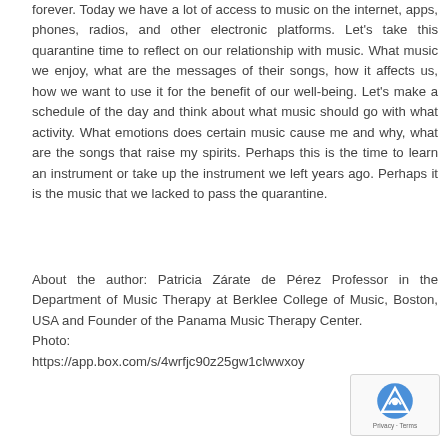forever. Today we have a lot of access to music on the internet, apps, phones, radios, and other electronic platforms. Let's take this quarantine time to reflect on our relationship with music. What music we enjoy, what are the messages of their songs, how it affects us, how we want to use it for the benefit of our well-being. Let's make a schedule of the day and think about what music should go with what activity. What emotions does certain music cause me and why, what are the songs that raise my spirits. Perhaps this is the time to learn an instrument or take up the instrument we left years ago. Perhaps it is the music that we lacked to pass the quarantine.
About the author: Patricia Zárate de Pérez Professor in the Department of Music Therapy at Berklee College of Music, Boston, USA and Founder of the Panama Music Therapy Center. Photo: https://app.box.com/s/4wrfjc90z25gw1clwwxoy...